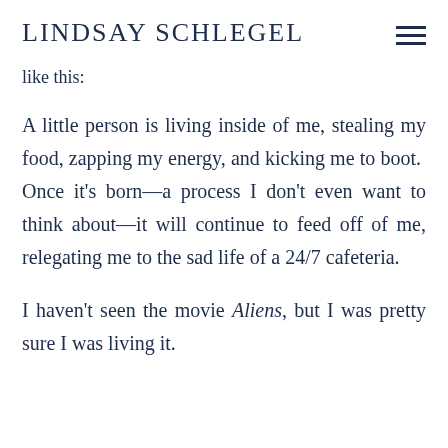LINDSAY SCHLEGEL
like this:
A little person is living inside of me, stealing my food, zapping my energy, and kicking me to boot. Once it's born—a process I don't even want to think about—it will continue to feed off of me, relegating me to the sad life of a 24/7 cafeteria.
I haven't seen the movie Aliens, but I was pretty sure I was living it.